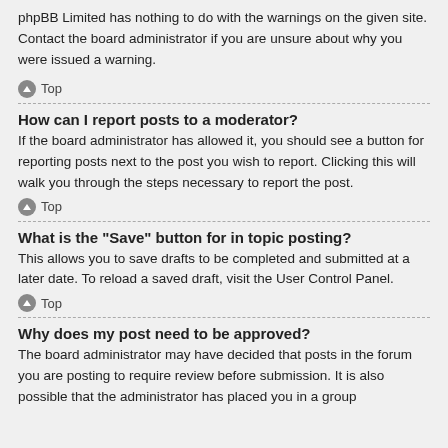phpBB Limited has nothing to do with the warnings on the given site. Contact the board administrator if you are unsure about why you were issued a warning.
Top
How can I report posts to a moderator?
If the board administrator has allowed it, you should see a button for reporting posts next to the post you wish to report. Clicking this will walk you through the steps necessary to report the post.
Top
What is the “Save” button for in topic posting?
This allows you to save drafts to be completed and submitted at a later date. To reload a saved draft, visit the User Control Panel.
Top
Why does my post need to be approved?
The board administrator may have decided that posts in the forum you are posting to require review before submission. It is also possible that the administrator has placed you in a group of users whose posts require review before submission. Pl...